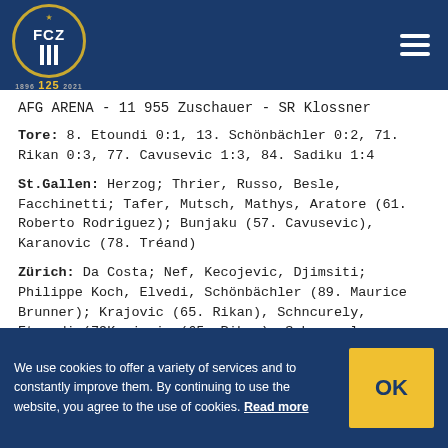[Figure (logo): FC Zürich (FCZ) logo with blue circle, gold star, white stripes and 125th anniversary badge]
AFG ARENA - 11 955 Zuschauer - SR Klossner
Tore: 8. Etoundi 0:1, 13. Schönbächler 0:2, 71. Rikan 0:3, 77. Cavusevic 1:3, 84. Sadiku 1:4
St.Gallen: Herzog; Thrier, Russo, Besle, Facchinetti; Tafer, Mutsch, Mathys, Aratore (61. Roberto Rodriguez); Bunjaku (57. Cavusevic), Karanovic (78. Tréand)
Zürich: Da Costa; Nef, Kecojevic, Djimsiti; Philippe Koch, Elvedi, Schönbächler (89. Maurice Brunner); Krajovic (65. Rikan), Schreurer, Etoundi (79...
We use cookies to offer a variety of services and to constantly improve them. By continuing to use the website, you agree to the use of cookies. Read more